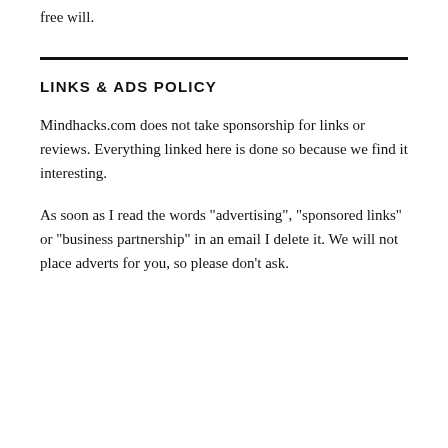free will.
LINKS & ADS POLICY
Mindhacks.com does not take sponsorship for links or reviews. Everything linked here is done so because we find it interesting.
As soon as I read the words "advertising", "sponsored links" or "business partnership" in an email I delete it. We will not place adverts for you, so please don't ask.